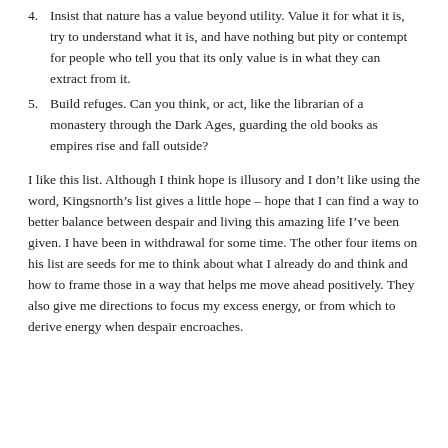4. Insist that nature has a value beyond utility. Value it for what it is, try to understand what it is, and have nothing but pity or contempt for people who tell you that its only value is in what they can extract from it.
5. Build refuges. Can you think, or act, like the librarian of a monastery through the Dark Ages, guarding the old books as empires rise and fall outside?
I like this list. Although I think hope is illusory and I don’t like using the word, Kingsnorth’s list gives a little hope – hope that I can find a way to better balance between despair and living this amazing life I’ve been given. I have been in withdrawal for some time. The other four items on his list are seeds for me to think about what I already do and think and how to frame those in a way that helps me move ahead positively. They also give me directions to focus my excess energy, or from which to derive energy when despair encroaches.